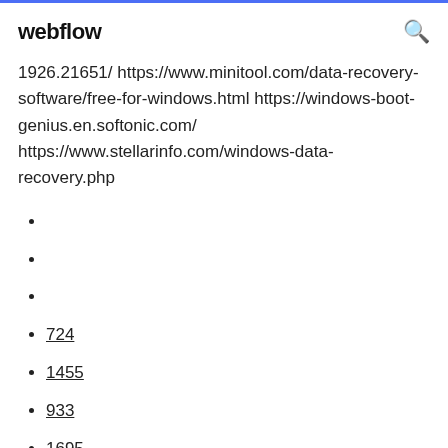webflow
1926.21651/ https://www.minitool.com/data-recovery-software/free-for-windows.html https://windows-boot-genius.en.softonic.com/ https://www.stellarinfo.com/windows-data-recovery.php
724
1455
933
1695
168